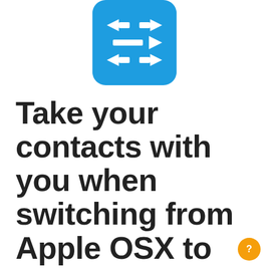[Figure (logo): Blue rounded square app icon with white arrows pointing left and right in multiple rows, resembling a contacts transfer/migration app icon]
Take your contacts with you when switching from Apple OSX to Pascom (or other new software,